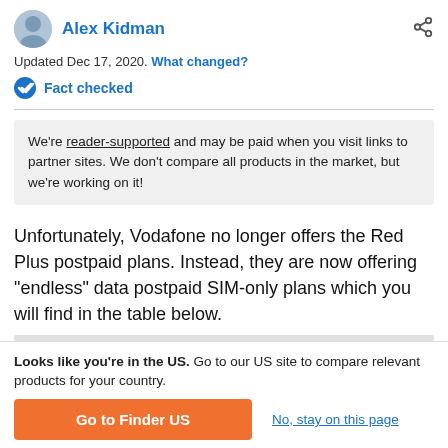Alex Kidman
Updated Dec 17, 2020. What changed?
Fact checked
We're reader-supported and may be paid when you visit links to partner sites. We don't compare all products in the market, but we're working on it!
Unfortunately, Vodafone no longer offers the Red Plus postpaid plans. Instead, they are now offering "endless" data postpaid SIM-only plans which you will find in the table below.
Looks like you're in the US. Go to our US site to compare relevant products for your country.
Go to Finder US
No, stay on this page